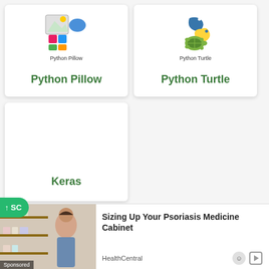[Figure (logo): Python Pillow logo with Python snake and image icons, labeled 'Python Pillow']
Python Pillow
[Figure (logo): Python Turtle logo with Python snake and turtle icons, labeled 'Python Turtle']
Python Turtle
Keras
Preparation
[Figure (photo): Sponsored advertisement: 'Sizing Up Your Psoriasis Medicine Cabinet' by HealthCentral, showing pharmacy/medicine cabinet image]